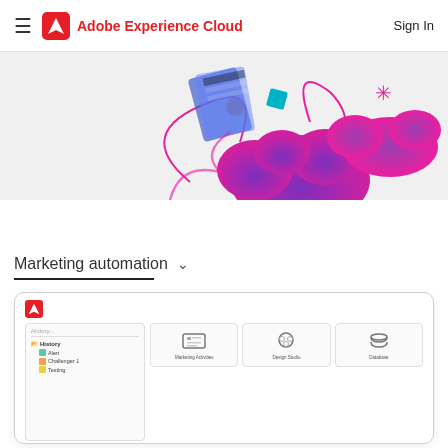Adobe Experience Cloud  Sign In
[Figure (illustration): Colorful illustration with cloud shapes in pink/purple gradient, orange circles, teal diamond shape, and stylized card/mobile device elements on a light gray background]
Marketing automation ∨
[Figure (screenshot): Screenshot of Adobe Marketo Engage interface showing History panel on the left with items: Alert, Challenger 1, Testing, and three icon cards on the right for Marketing Activities, Design Studio, and Database]